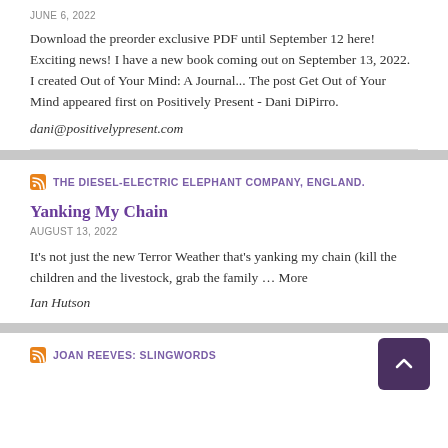JUNE 6, 2022
Download the preorder exclusive PDF until September 12 here! Exciting news! I have a new book coming out on September 13, 2022. I created Out of Your Mind: A Journal... The post Get Out of Your Mind appeared first on Positively Present - Dani DiPirro.
dani@positivelypresent.com
THE DIESEL-ELECTRIC ELEPHANT COMPANY, ENGLAND.
Yanking My Chain
AUGUST 13, 2022
It's not just the new Terror Weather that's yanking my chain (kill the children and the livestock, grab the family … More
Ian Hutson
JOAN REEVES: SLINGWORDS